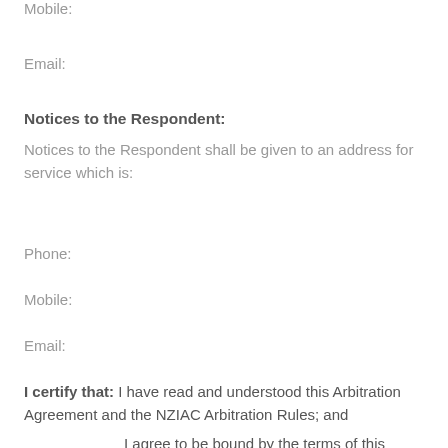Mobile:
Email:
Notices to the Respondent:
Notices to the Respondent shall be given to an address for service which is:
Phone:
Mobile:
Email:
I certify that:   I have read and understood this Arbitration Agreement and the NZIAC Arbitration Rules; and
I agree to be bound by the terms of this